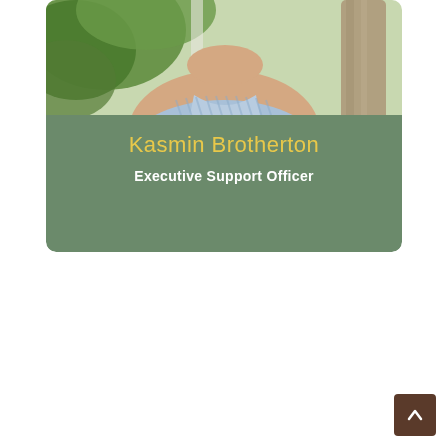[Figure (photo): Profile card of Kasmin Brotherton. Upper portion shows a photo of a woman in a blue sleeveless striped top with green foliage and a tree trunk in the background. Lower portion is a muted green panel with the name 'Kasmin Brotherton' in gold/yellow text and the title 'Executive Support Officer' in white bold text.]
Kasmin Brotherton
Executive Support Officer